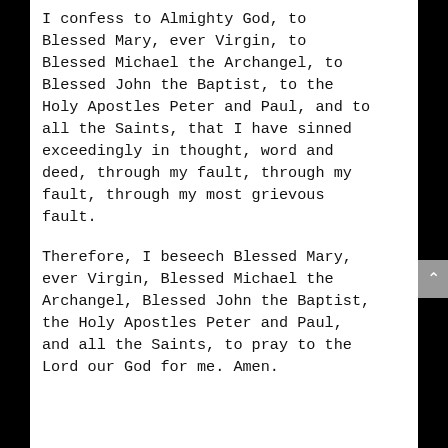I confess to Almighty God, to Blessed Mary, ever Virgin, to Blessed Michael the Archangel, to Blessed John the Baptist, to the Holy Apostles Peter and Paul, and to all the Saints, that I have sinned exceedingly in thought, word and deed, through my fault, through my fault, through my most grievous fault.
Therefore, I beseech Blessed Mary, ever Virgin, Blessed Michael the Archangel, Blessed John the Baptist, the Holy Apostles Peter and Paul, and all the Saints, to pray to the Lord our God for me. Amen.